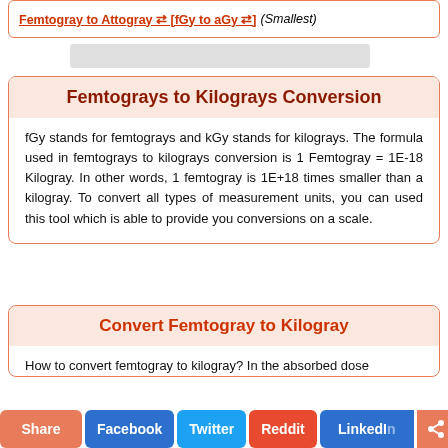Femtogray to Attogray ⇄ [fGy to aGy ⇄] (Smallest)
[Figure (other): Gray advertisement placeholder bar]
Femtograys to Kilograys Conversion
fGy stands for femtograys and kGy stands for kilograys. The formula used in femtograys to kilograys conversion is 1 Femtogray = 1E-18 Kilogray. In other words, 1 femtogray is 1E+18 times smaller than a kilogray. To convert all types of measurement units, you can used this tool which is able to provide you conversions on a scale.
Convert Femtogray to Kilogray
How to convert femtogray to kilogray? In the absorbed dose
Share  Facebook  Twitter  Reddit  LinkedIn